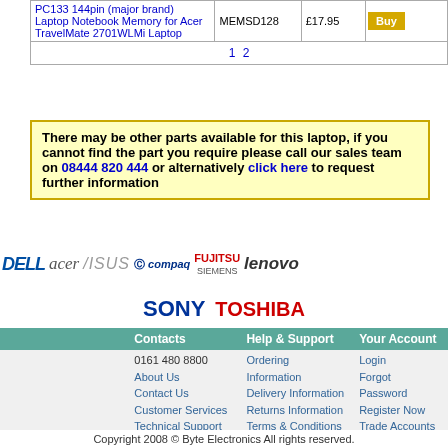| Product | Part No. | Price |  |
| --- | --- | --- | --- |
| PC133 144pin (major brand) Laptop Notebook Memory for Acer TravelMate 2701WLMi Laptop | MEMSD128 | £17.95 | Buy |
| 1 2 |  |  |  |
There may be other parts available for this laptop, if you cannot find the part you require please call our sales team on 08444 820 444 or alternatively click here to request further information
[Figure (logo): Brand logos row: DELL, acer, ASUS, hp COMPAQ, FUJITSU SIEMENS, lenovo]
[Figure (logo): Brand logos row 2: SONY, TOSHIBA]
| Contacts | Help & Support | Your Account |
| --- | --- | --- |
| 0161 480 8800 | Ordering Information | Login |
| About Us | Delivery Information | Forgot Password |
| Contact Us | Returns Information | Register Now |
| Customer Services | Terms & Conditions | Trade Accounts |
| Technical Support | Privacy Statement | Educational Acco... |
| Purchase Order Enquires | Frequently Asked Questions | Public Sector Ac... |
Copyright 2008 © Byte Electronics All rights reserved.